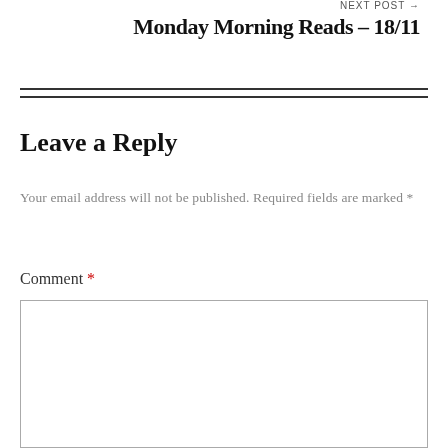NEXT POST →
Monday Morning Reads – 18/11
Leave a Reply
Your email address will not be published. Required fields are marked *
Comment *